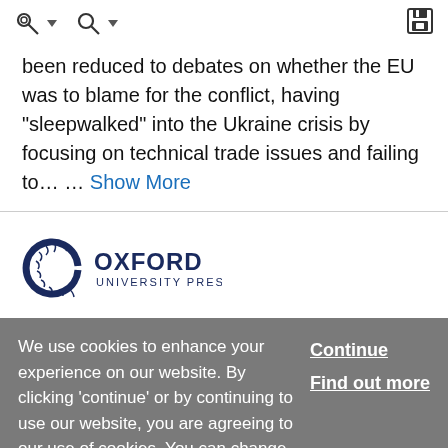Toolbar with navigation icons
been reduced to debates on whether the EU was to blame for the conflict, having “sleepwalked” into the Ukraine crisis by focusing on technical trade issues and failing to… … Show More
[Figure (logo): Oxford University Press logo with circular wreath icon and text OXFORD UNIVERSITY PRESS in dark navy]
We use cookies to enhance your experience on our website. By clicking ‘continue’ or by continuing to use our website, you are agreeing to our use of cookies. You can change your cookie settings at any time.